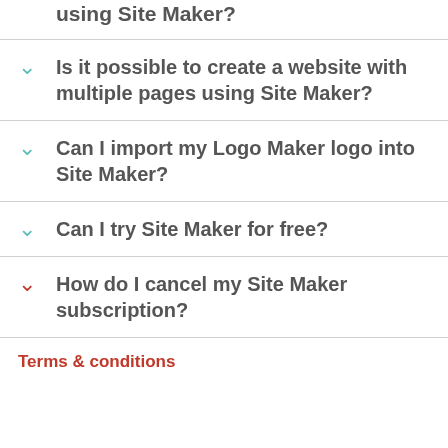using Site Maker?
Is it possible to create a website with multiple pages using Site Maker?
Can I import my Logo Maker logo into Site Maker?
Can I try Site Maker for free?
How do I cancel my Site Maker subscription?
Terms & conditions